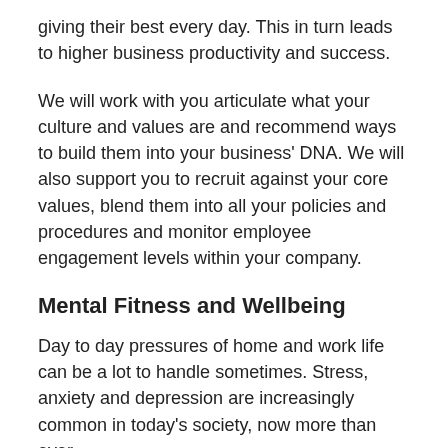giving their best every day.  This in turn leads to higher business productivity and success.
We will work with you articulate what your culture and values are and recommend ways to build them into your business' DNA.  We will also support you to recruit against your core values, blend them into all your policies and procedures and monitor employee engagement levels within your company.
Mental Fitness and Wellbeing
Day to day pressures of home and work life can be a lot to handle sometimes. Stress, anxiety and depression are increasingly common in today's society, now more than ever.
As an employer it is more important than ever to help